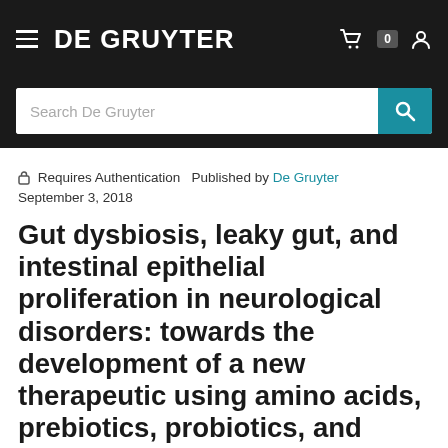DE GRUYTER
🔒 Requires Authentication   Published by De Gruyter
September 3, 2018
Gut dysbiosis, leaky gut, and intestinal epithelial proliferation in neurological disorders: towards the development of a new therapeutic using amino acids, prebiotics, probiotics, and postbiotics